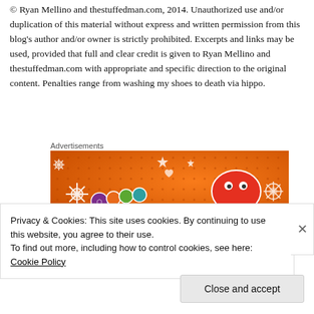© Ryan Mellino and thestuffedman.com, 2014. Unauthorized use and/or duplication of this material without express and written permission from this blog's author and/or owner is strictly prohibited. Excerpts and links may be used, provided that full and clear credit is given to Ryan Mellino and thestuffedman.com with appropriate and specific direction to the original content. Penalties range from washing my shoes to death via hippo.
Advertisements
[Figure (illustration): Orange banner advertisement with illustrated dice, flowers, and a red octopus or crab creature on an orange dotted background.]
Privacy & Cookies: This site uses cookies. By continuing to use this website, you agree to their use.
To find out more, including how to control cookies, see here: Cookie Policy
Close and accept